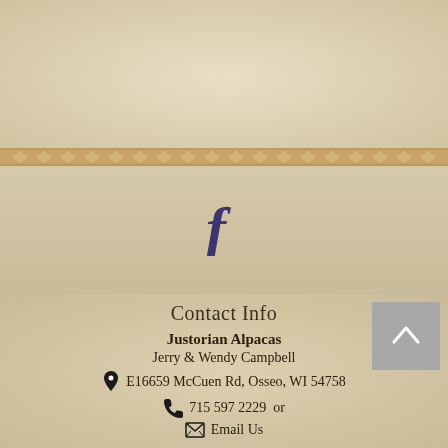[Figure (illustration): Decorative diamond/cross pattern border strip in warm tan/brown tones]
[Figure (logo): Facebook 'f' icon in dark purple/indigo color on parchment background]
Contact Info
Justorian Alpacas
Jerry & Wendy Campbell
E16659 McCuen Rd, Osseo, WI 54758
715 597 2229  or
Email Us